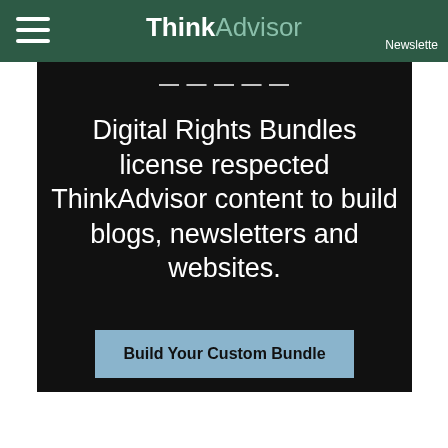ThinkAdvisor Newsletter
[Figure (screenshot): Dark background advertisement banner for ThinkAdvisor Digital Rights Bundles with text and a button]
Digital Rights Bundles license respected ThinkAdvisor content to build blogs, newsletters and websites.
Build Your Custom Bundle